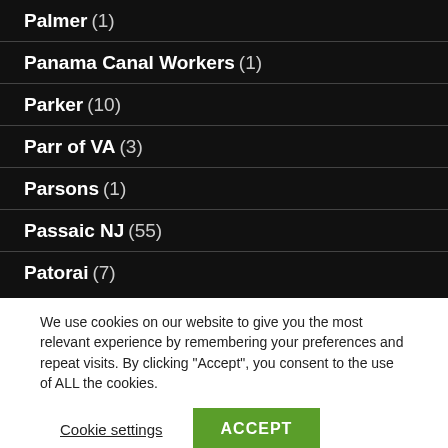Palmer (1)
Panama Canal Workers (1)
Parker (10)
Parr of VA (3)
Parsons (1)
Passaic NJ (55)
Patorai (7)
We use cookies on our website to give you the most relevant experience by remembering your preferences and repeat visits. By clicking “Accept”, you consent to the use of ALL the cookies. Do not sell my personal information.
Cookie settings ACCEPT